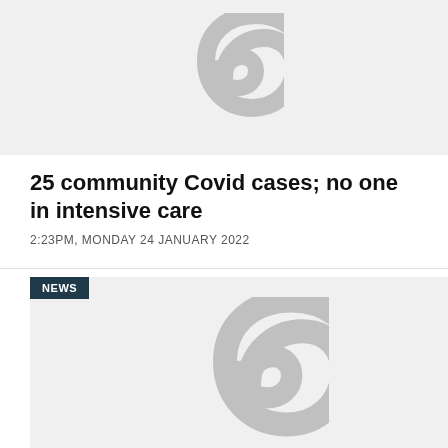[Figure (illustration): Gray spiral/koru logo placeholder image on light gray background, top article]
25 community Covid cases; no one in intensive care
2:23PM, MONDAY 24 JANUARY 2022
[Figure (illustration): Gray spiral/koru logo placeholder image on light gray background with NEWS badge, second article]